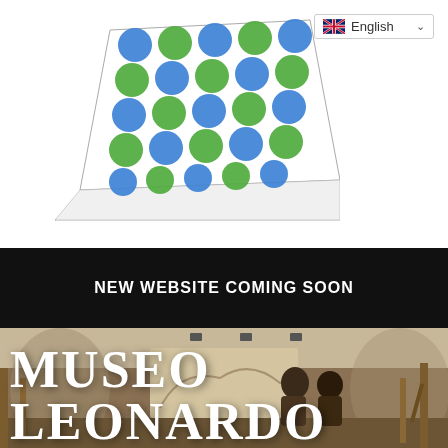[Figure (illustration): A tilted grid/board artwork with a 5x5 arrangement of alternating blue and green textured circular dots on a white background with perspective lines at the bottom.]
[Figure (screenshot): Language selector dropdown showing UK flag and 'English' with a chevron/dropdown arrow, bordered box in top right.]
NEW WEBSITE COMING SOON
[Figure (photo): Interior of Museo Leonardo - a museum room with arched ceilings, wooden mechanical models/machines on display, and two visitors looking at exhibits. Large text overlay reads MUSEO LEONARDO at the bottom.]
MUSEO LEONARDO